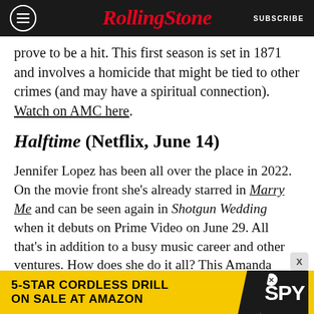Rolling Stone | SUBSCRIBE
prove to be a hit. This first season is set in 1871 and involves a homicide that might be tied to other crimes (and may have a spiritual connection). Watch on AMC here.
Halftime (Netflix, June 14)
Jennifer Lopez has been all over the place in 2022. On the movie front she's already starred in Marry Me and can be seen again in Shotgun Wedding when it debuts on Prime Video on June 29. All that's in addition to a busy music career and other ventures. How does she do it all? This Amanda Michell documentary, which uses Lopez's 2020 Super Bowl halftime performance